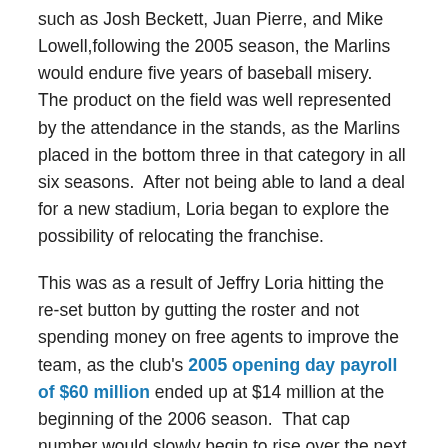such as Josh Beckett, Juan Pierre, and Mike Lowell,following the 2005 season, the Marlins would endure five years of baseball misery.  The product on the field was well represented by the attendance in the stands, as the Marlins placed in the bottom three in that category in all six seasons.  After not being able to land a deal for a new stadium, Loria began to explore the possibility of relocating the franchise.
This was as a result of Jeffry Loria hitting the re-set button by gutting the roster and not spending money on free agents to improve the team, as the club's 2005 opening day payroll of $60 million ended up at $14 million at the beginning of the 2006 season.  That cap number would slowly begin to rise over the next few seasons and there were some exciting, overachieving teams, such as the 2009 club.  But it seemed as if